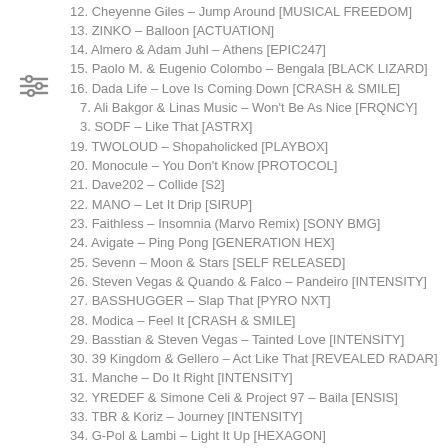12. Cheyenne Giles – Jump Around [MUSICAL FREEDOM]
13. ZINKO – Balloon [ACTUATION]
14. Almero & Adam Juhl – Athens [EPIC247]
15. Paolo M. & Eugenio Colombo – Bengala [BLACK LIZARD]
16. Dada Life – Love Is Coming Down [CRASH & SMILE]
17. Ali Bakgor & Linas Music – Won't Be As Nice [FRQNCY]
18. SODF – Like That [ASTRX]
19. TWOLOUD – Shopaholicked [PLAYBOX]
20. Monocule – You Don't Know [PROTOCOL]
21. Dave202 – Collide [S2]
22. MANO – Let It Drip [SIRUP]
23. Faithless – Insomnia (Marvo Remix) [SONY BMG]
24. Avigate – Ping Pong [GENERATION HEX]
25. Sevenn – Moon & Stars [SELF RELEASED]
26. Steven Vegas & Quando & Falco – Pandeiro [INTENSITY]
27. BASSHUGGER – Slap That [PYRO NXT]
28. Modica – Feel It [CRASH & SMILE]
29. Basstian & Steven Vegas – Tainted Love [INTENSITY]
30. 39 Kingdom & Gellero – Act Like That [REVEALED RADAR]
31. Manche – Do It Right [INTENSITY]
32. YREDEF & Simone Celi & Project 97 – Baila [ENSIS]
33. TBR & Koriz – Journey [INTENSITY]
34. G-Pol & Lambi – Light It Up [HEXAGON]